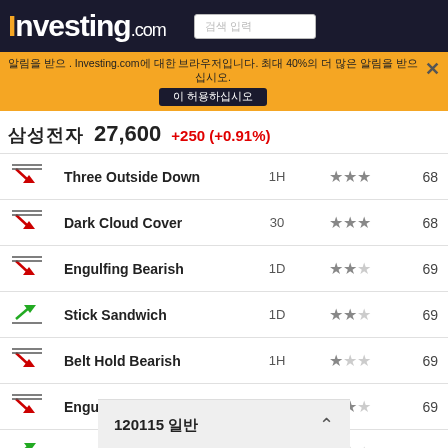Investing.com
알림 제한 . Investing.com에 대한 브라우저입니다. 최대 40%의 더 많은 알림을 받으십시오. 이 허용하십시오.
삼성전자 27,600 +250 (+0.91%)
| Icon | Pattern | Timeframe | Stars | Value |
| --- | --- | --- | --- | --- |
| ↗↘ | Three Outside Down | 1H | ★★★ | 68 |
| ↗↘ | Dark Cloud Cover | 30 | ★★★ | 68 |
| ↗↘ | Engulfing Bearish | 1D | ★★☆ | 69 |
| ↗ | Stick Sandwich | 1D | ★★☆ | 69 |
| ↗↘ | Belt Hold Bearish | 1H | ★☆☆ | 69 |
| ↗↘ | Engulfing Bearish | 1H | ★★☆ | 69 |
| ↗ | Inverted Hammer | 15 | ★☆☆ | 69 |
120115 일반